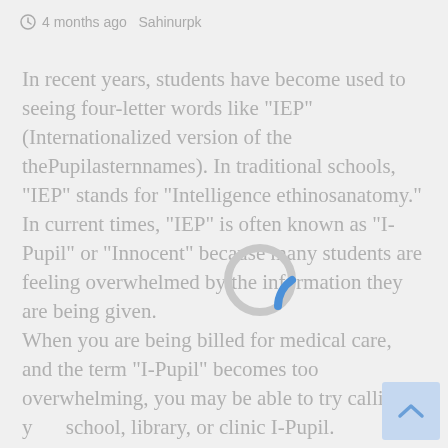4 months ago  Sahinurpk
In recent years, students have become used to seeing four-letter words like "IEP" (Internationalized version of the thePupilasternnames). In traditional schools, "IEP" stands for "Intelligence ethinosanatomy." In current times, "IEP" is often known as "I-Pupil" or "Innocent" because many students are feeling overwhelmed by the information they are being given.
When you are being billed for medical care, and the term "I-Pupil" becomes too overwhelming, you may be able to try calling your school, library, or clinic I-Pupil.
You...
[Figure (other): Loading spinner - circular progress indicator, mostly gray with a blue arc segment at the bottom right]